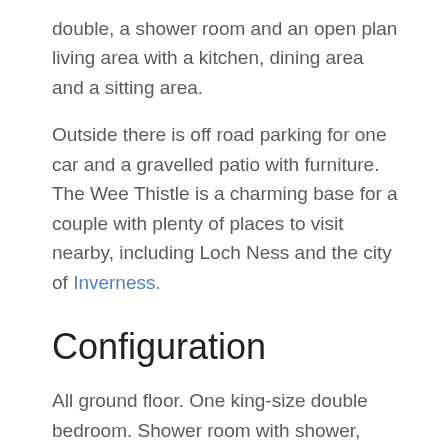double, a shower room and an open plan living area with a kitchen, dining area and a sitting area.
Outside there is off road parking for one car and a gravelled patio with furniture. The Wee Thistle is a charming base for a couple with plenty of places to visit nearby, including Loch Ness and the city of Inverness.
Configuration
All ground floor. One king-size double bedroom. Shower room with shower, basin and WC. Open plan living area with kitchen, breakfast bar and sitting area.
Facilities